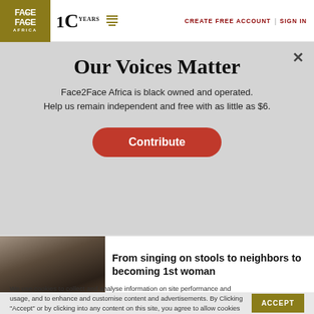Face2Face Africa | 10 YEARS | CREATE FREE ACCOUNT | SIGN IN
Our Voices Matter
Face2Face Africa is black owned and operated. Help us remain independent and free with as little as $6.
Contribute
[Figure (photo): Article thumbnail image — dark textured background with article headline overlay: From singing on stools to neighbors to becoming 1st woman]
We use cookies to collect and analyse information on site performance and usage, and to enhance and customise content and advertisements. By Clicking "Accept" or by clicking into any content on this site, you agree to allow cookies to be placed. To find out more, read our privacy policy.
ACCEPT